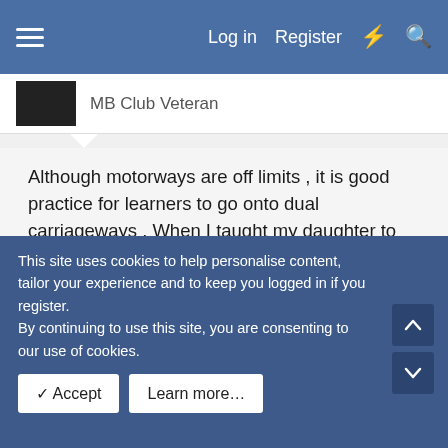Log in   Register
MB Club Veteran
Although motorways are off limits , it is good practice for learners to go onto dual carriageways . When I taught my daughter to drive I made full use of various stretches of dual carrigeway to give her some 'feel' of what it would be like to be on a motorway . After she passed her test , I took her on the motorways too .
Like Shude , I learned during the winter (birthday in January , so that was when I started being able to drive on the public roads) and had darkness , rain , snow etc to contend with .
This site uses cookies to help personalise content, tailor your experience and to keep you logged in if you register.
By continuing to use this site, you are consenting to our use of cookies.